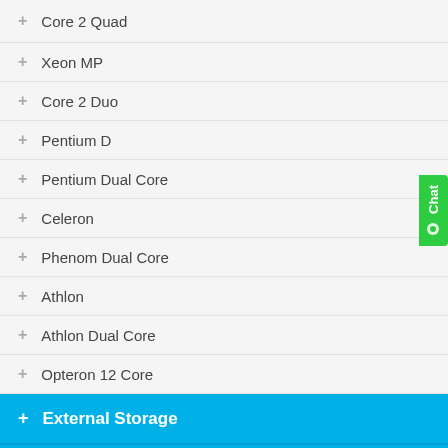+ Core 2 Quad
+ Xeon MP
+ Core 2 Duo
+ Pentium D
+ Pentium Dual Core
+ Celeron
+ Phenom Dual Core
+ Athlon
+ Athlon Dual Core
+ Opteron 12 Core
+ External Storage
+ Multimedia
+ Software